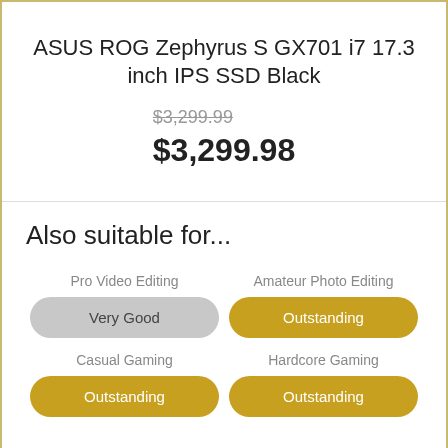ASUS ROG Zephyrus S GX701 i7 17.3 inch IPS SSD Black
$3,299.99 (strikethrough) / $3,299.98
Also suitable for...
Pro Video Editing — Very Good
Amateur Photo Editing — Outstanding
Casual Gaming — Outstanding
Hardcore Gaming — Outstanding